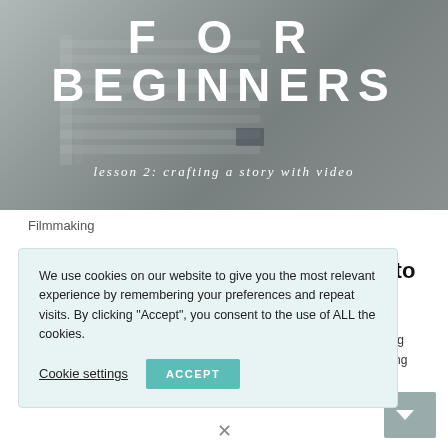[Figure (photo): Hero image with stacked books/papers in grey tones, overlaid with bold white text reading FOR BEGINNERS and subtitle lesson 2: crafting a story with video]
FOR BEGINNERS
lesson 2: crafting a story with video
Filmmaking
How to
We use cookies on our website to give you the most relevant experience by remembering your preferences and repeat visits. By clicking “Accept”, you consent to the use of ALL the cookies.
Cookie settings
ACCEPT
a story using ess of getting d shooting